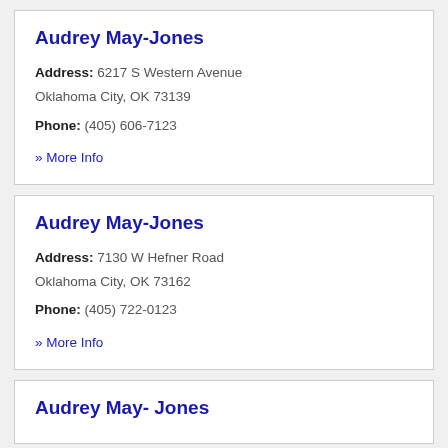Audrey May-Jones
Address: 6217 S Western Avenue Oklahoma City, OK 73139
Phone: (405) 606-7123
» More Info
Audrey May-Jones
Address: 7130 W Hefner Road Oklahoma City, OK 73162
Phone: (405) 722-0123
» More Info
Audrey May- Jones